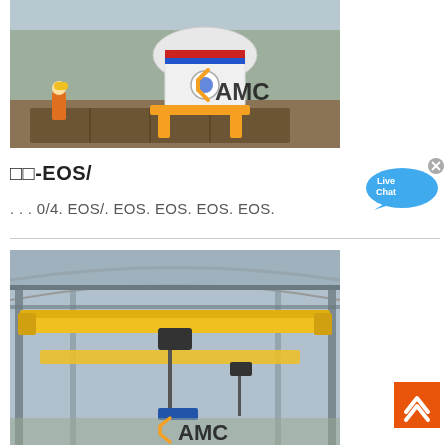[Figure (photo): Industrial heavy machinery (cone crusher or similar) being operated outdoors by a worker in a yellow hard hat and orange vest, with AMC logo overlay. Trees visible in background.]
□□-EOS/
[Figure (other): Live Chat button — blue speech bubble with 'Live Chat' text and an X close button]
. . . 0/4. EOS/. EOS. EOS. EOS. EOS.
[Figure (photo): Interior of a large industrial warehouse/factory showing yellow overhead crane system (bridge crane) spanning the width of the building, with AMC logo overlay. Steel roof structure visible.]
[Figure (other): Back to top button — orange square with upward chevron arrow]